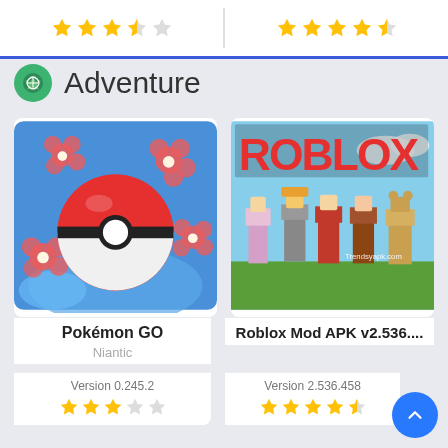[Figure (screenshot): Top bar showing two app cards with star ratings (3.5 stars left, 4.5 stars right), separated by a blue bottom border]
Adventure
[Figure (screenshot): Pokémon GO app icon: Poké Ball with floral design on blue background]
Pokémon GO
Niantic
Version 0.245.2
[Figure (screenshot): Roblox Mod APK app banner: Roblox characters standing on grass with ROBLOX logo]
Roblox Mod APK v2.536....
Version 2.536.458